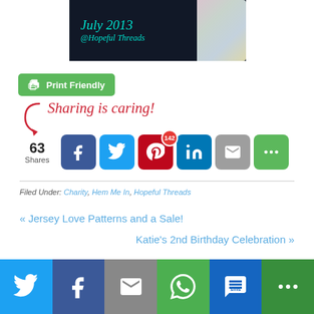[Figure (photo): Dark background banner image showing 'July 2013 @Hopeful Threads' text in teal, with floral fabric/apron visible on the right side]
[Figure (screenshot): Print Friendly green button with printer icon]
Sharing is caring!
[Figure (infographic): Social sharing buttons row: 63 Shares count, Facebook, Twitter, Pinterest (142), LinkedIn, Email, More/Green]
Filed Under: Charity, Hem Me In, Hopeful Threads
« Jersey Love Patterns and a Sale!
Katie's 2nd Birthday Celebration »
[Figure (infographic): Bottom sticky share bar with Twitter, Facebook, Email, WhatsApp, SMS, More buttons]